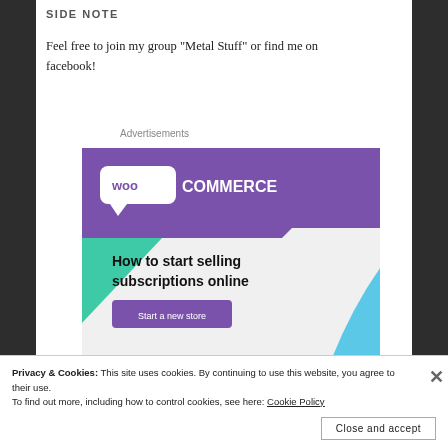SIDE NOTE
Feel free to join my group "Metal Stuff" or find me on facebook!
Advertisements
[Figure (screenshot): WooCommerce advertisement banner with purple header logo, teal and blue accent shapes, text reading 'How to start selling subscriptions online' and a 'Start a new store' button]
Privacy & Cookies: This site uses cookies. By continuing to use this website, you agree to their use.
To find out more, including how to control cookies, see here: Cookie Policy
Close and accept